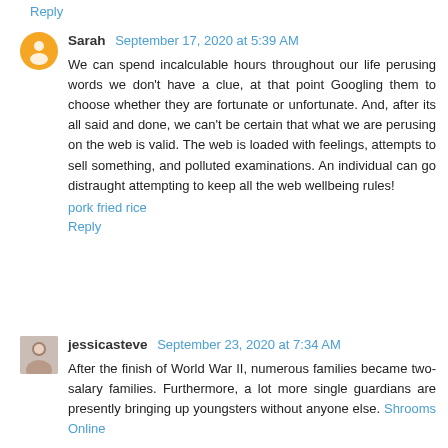Reply
Sarah  September 17, 2020 at 5:39 AM
We can spend incalculable hours throughout our life perusing words we don't have a clue, at that point Googling them to choose whether they are fortunate or unfortunate. And, after its all said and done, we can't be certain that what we are perusing on the web is valid. The web is loaded with feelings, attempts to sell something, and polluted examinations. An individual can go distraught attempting to keep all the web wellbeing rules!
pork fried rice
Reply
jessicasteve  September 23, 2020 at 7:34 AM
After the finish of World War II, numerous families became two-salary families. Furthermore, a lot more single guardians are presently bringing up youngsters without anyone else. Shrooms Online